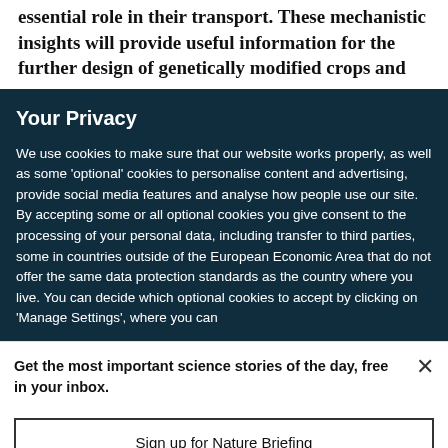essential role in their transport. These mechanistic insights will provide useful information for the further design of genetically modified crops and
Your Privacy
We use cookies to make sure that our website works properly, as well as some 'optional' cookies to personalise content and advertising, provide social media features and analyse how people use our site. By accepting some or all optional cookies you give consent to the processing of your personal data, including transfer to third parties, some in countries outside of the European Economic Area that do not offer the same data protection standards as the country where you live. You can decide which optional cookies to accept by clicking on 'Manage Settings', where you can
Get the most important science stories of the day, free in your inbox.
Sign up for Nature Briefing